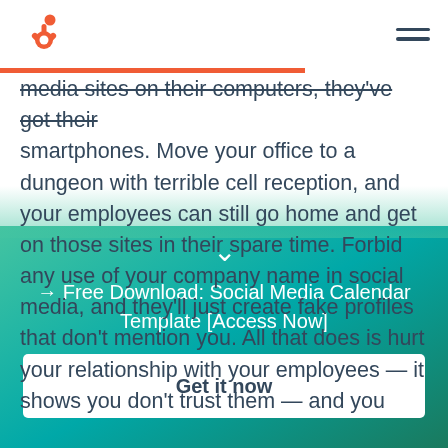HubSpot logo and navigation
media sites on their computers, they've got their smartphones. Move your office to a dungeon with terrible cell reception, and your employees can still go home and get on those sites in their spare time. Forbid any use of your company name in social media, and they'll just create fake profiles that don't mention you. All that does is hurt your relationship with your employees — it shows you don't trust them — and you
→ Free Download: Social Media Calendar Template [Access Now]
Get it now